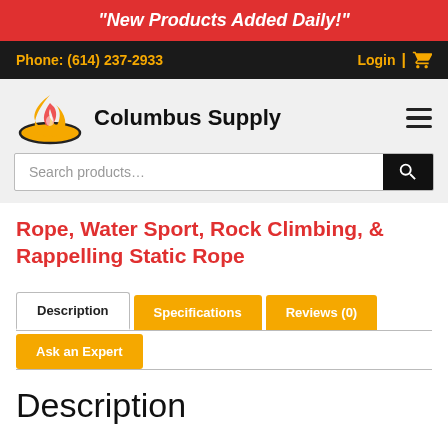"New Products Added Daily!"
Phone: (614) 237-2933  Login  🛒
[Figure (logo): Columbus Supply flame logo with oval base]
Columbus Supply
Search products...
Rope, Water Sport, Rock Climbing, & Rappelling Static Rope
Description | Specifications | Reviews (0) | Ask an Expert
Description